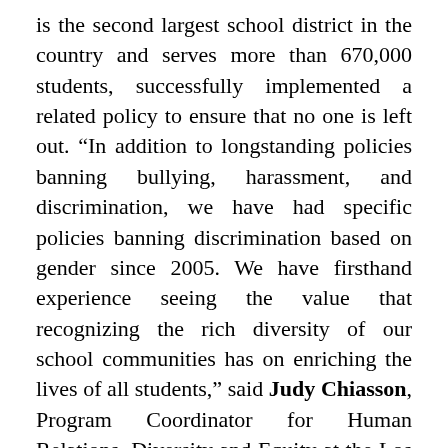is the second largest school district in the country and serves more than 670,000 students, successfully implemented a related policy to ensure that no one is left out. “In addition to longstanding policies banning bullying, harassment, and discrimination, we have had specific policies banning discrimination based on gender since 2005. We have firsthand experience seeing the value that recognizing the rich diversity of our school communities has on enriching the lives of all students,” said Judy Chiasson, Program Coordinator for Human Relations, Diversity and Equity at the Los Angeles Unified School District. The Massachusetts Department of Education